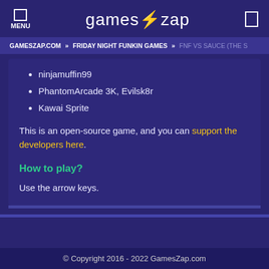MENU | games⚡zap
GAMESZAP.COM » FRIDAY NIGHT FUNKIN GAMES » FNF VS SAUCE (THE S
ninjamuffin99
PhantomArcade 3K, Evilsk8r
Kawai Sprite
This is an open-source game, and you can support the developers here.
How to play?
Use the arrow keys.
© Copyright 2016 - 2022 GamesZap.com